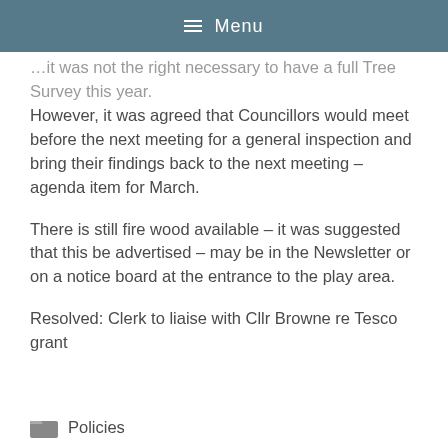Menu
…it was not the right necessary to have a full Tree Survey this year. However, it was agreed that Councillors would meet before the next meeting for a general inspection and bring their findings back to the next meeting – agenda item for March.
There is still fire wood available – it was suggested that this be advertised – may be in the Newsletter or on a notice board at the entrance to the play area.
Resolved: Clerk to liaise with Cllr Browne re Tesco grant
Policies